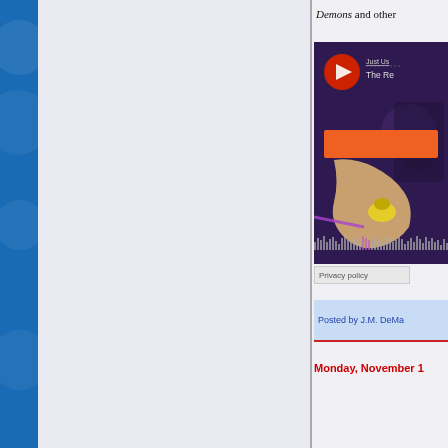Demons and other
[Figure (screenshot): Embedded media player showing an animated/illustrated character with purple background, play button circle in red/orange, title 'Just Us' and 'The Re...', orange subscribe/action bar, character illustration with yellow headphones, and audio waveform at bottom]
Privacy policy
Posted by J.M. DeMa...
Monday, November 1...